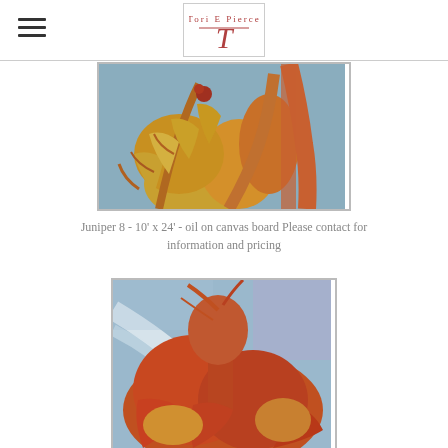Tori E. Pierce - Artist Logo
[Figure (photo): Painting of juniper branches with golden-yellow foliage and orange stems against a blue-grey background, oil on canvas board, cropped view.]
Juniper 8 - 10' x 24' - oil on canvas board Please contact for information and pricing
[Figure (photo): Painting of juniper tree with orange and golden foliage silhouetted against a blue and lavender sky background, oil on canvas board, cropped view from below.]